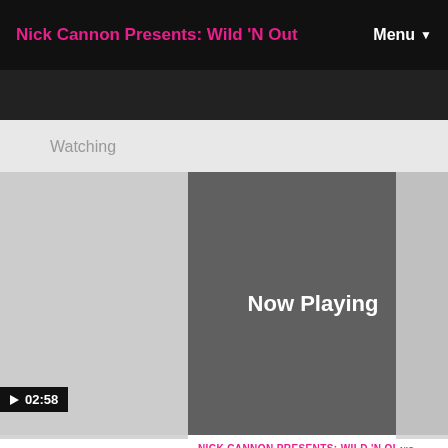Nick Cannon Presents: Wild 'N Out
Watching
[Figure (screenshot): Video thumbnail placeholder (light gray) with play button and 02:58 duration badge]
OUT • S15
he Old
lla,
and
[Figure (screenshot): Now Playing dark gray video player panel]
NICK CANNON PRESENTS: WILD 'N OUT • S15
Pivot Gang - "Blood"
Pivot Gang, a group of independent rappers and producers from Chicago's west side, hit the Wild 'N Out stage to
HIGHLIGHT badge
NIC
Ma
Fle
A v
Ran